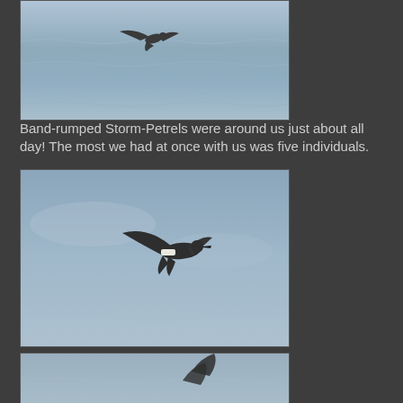[Figure (photo): Band-rumped Storm-Petrel bird in flight over ocean waves with blue-grey water in background]
Band-rumped Storm-Petrels were around us just about all day!  The most we had at once with us was five individuals.
[Figure (photo): Band-rumped Storm-Petrel bird in flight against blue-grey sky, showing white band on rump]
[Figure (photo): Partial view of Band-rumped Storm-Petrel bird in flight, cropped at bottom of page]